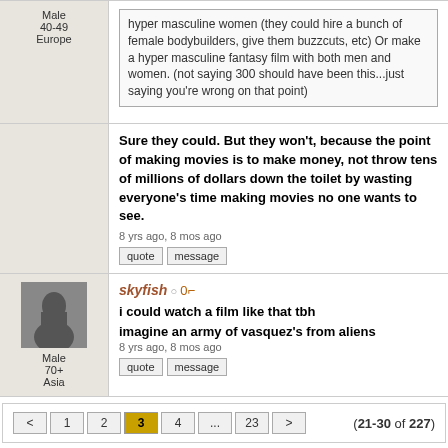hyper masculine women (they could hire a bunch of female bodybuilders, give them buzzcuts, etc) Or make a hyper masculine fantasy film with both men and women. (not saying 300 should have been this...just saying you're wrong on that point)
Male 40-49 Europe
Sure they could. But they won't, because the point of making movies is to make money, not throw tens of millions of dollars down the toilet by wasting everyone's time making movies no one wants to see.
8 yrs ago, 8 mos ago
quote | message
[Figure (photo): User avatar for skyfish, dark silhouette image]
skyfish ○ 0-key Male 70+ Asia
i could watch a film like that tbh
imagine an army of vasquez's from aliens
8 yrs ago, 8 mos ago
quote | message
< 1 2 3 4 ... 23 > (21-30 of 227)
You must be logged in to post...